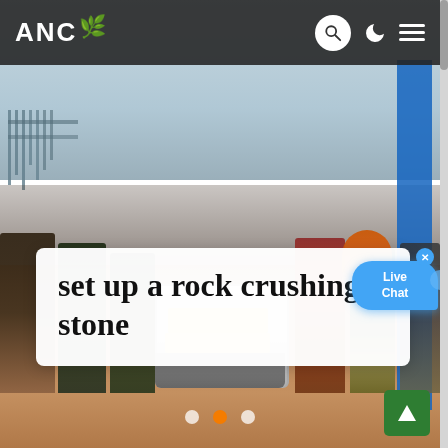[Figure (photo): Construction workers standing around a rock crushing machine on a muddy construction site. Background shows sky, scaffolding/rebar structures, and construction equipment. Several workers in work clothes and boots visible.]
ANC [leaf icon] | Search | Dark mode | Menu
set up a rock crushing stone
[Figure (other): Live Chat speech bubble widget with blue background, showing 'Live Chat' text with a close (x) button]
[Figure (other): Carousel navigation dots: three dots, middle one orange/active]
[Figure (other): Green back-to-top button with upward arrow icon]